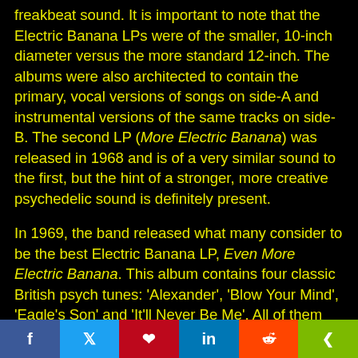freakbeat sound. It is important to note that the Electric Banana LPs were of the smaller, 10-inch diameter versus the more standard 12-inch. The albums were also architected to contain the primary, vocal versions of songs on side-A and instrumental versions of the same tracks on side-B. The second LP (More Electric Banana) was released in 1968 and is of a very similar sound to the first, but the hint of a stronger, more creative psychedelic sound is definitely present.

In 1969, the band released what many consider to be the best Electric Banana LP, Even More Electric Banana. This album contains four classic British psych tunes: 'Alexander', 'Blow Your Mind', 'Eagle's Son' and 'It'll Never Be Me'. All of them but 'Alexander' were also featured in the movie What's Good for the Goose, which includes a rather lengthy psychedelic nightclub scene spotlighting the band playing the songs in pretty much their entirety. The group even penned the theme song for the film, which is also featured on the "Even More..." album. 1969 also saw the band provide music for another film
f  t  p  in  reddit  share